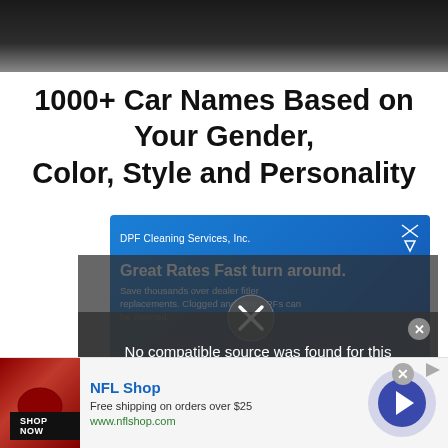[Figure (photo): Dark background hero image at top of page]
1000+ Car Names Based on Your Gender, Color, Style and Personality
[Figure (screenshot): DPF Cleaning Services, Inc. advertisement with blue background. Headline: Great Rates Fast turn around. Save thousands over dealer fitler replacements. Clogged and dirty DPFs can be cleaned.]
[Figure (screenshot): Video player overlay showing: No compatible source was found for this media. Background shows: Is it Safe To Drive With Check Engine Light On?]
[Figure (screenshot): NFL Shop advertisement bar. NFL Shop. Free shipping on orders over $25. www.nflshop.com. SHOP NOW button.]